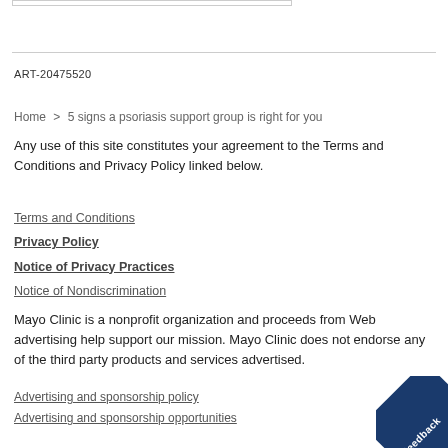ART-20475520
Home > 5 signs a psoriasis support group is right for you
Any use of this site constitutes your agreement to the Terms and Conditions and Privacy Policy linked below.
Terms and Conditions
Privacy Policy
Notice of Privacy Practices
Notice of Nondiscrimination
Mayo Clinic is a nonprofit organization and proceeds from Web advertising help support our mission. Mayo Clinic does not endorse any of the third party products and services advertised.
Advertising and sponsorship policy
Advertising and sponsorship opportunities